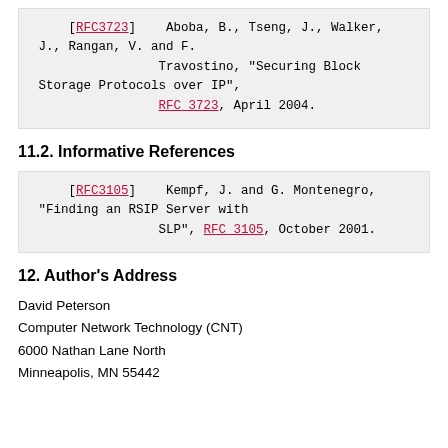[RFC3723]    Aboba, B., Tseng, J., Walker, J., Rangan, V. and F. Travostino, "Securing Block Storage Protocols over IP", RFC 3723, April 2004.
11.2. Informative References
[RFC3105]    Kempf, J. and G. Montenegro, "Finding an RSIP Server with SLP", RFC 3105, October 2001.
12. Author's Address
David Peterson
Computer Network Technology (CNT)
6000 Nathan Lane North
Minneapolis, MN 55442